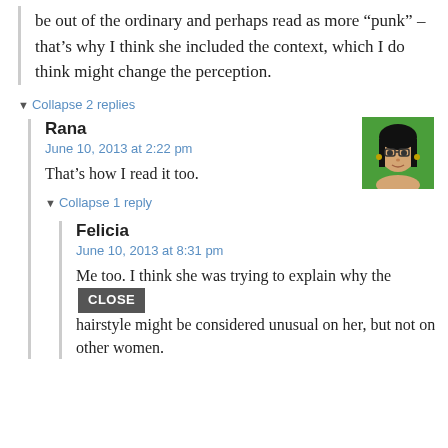be out of the ordinary and perhaps read as more “punk” – that’s why I think she included the context, which I do think might change the perception.
▾ Collapse 2 replies
Rana
June 10, 2013 at 2:22 pm
That’s how I read it too.
▾ Collapse 1 reply
Felicia
June 10, 2013 at 8:31 pm
Me too. I think she was trying to explain why the hairstyle might be considered unusual on her, but not on other women.